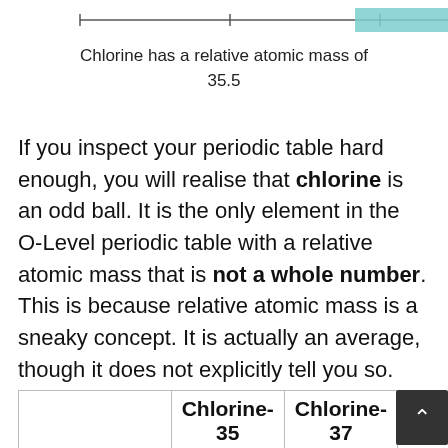[Figure (other): Horizontal number line or bar chart showing chlorine isotope distribution, with a teal/cyan filled bar segment near the right side]
Chlorine has a relative atomic mass of 35.5
If you inspect your periodic table hard enough, you will realise that chlorine is an odd ball. It is the only element in the O-Level periodic table with a relative atomic mass that is not a whole number. This is because relative atomic mass is a sneaky concept. It is actually an average, though it does not explicitly tell you so.
|  | Chlorine-35 | Chlorine-37 |
| --- | --- | --- |